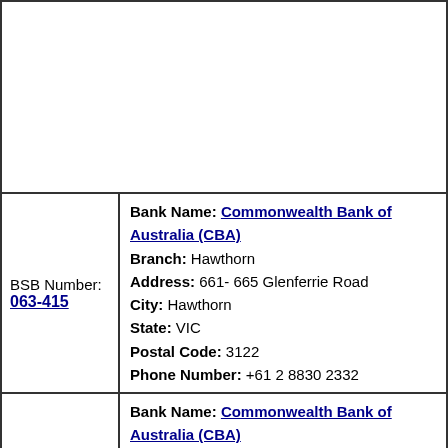|  |  |
| BSB Number: 063-415 | Bank Name: Commonwealth Bank of Australia (CBA)
Branch: Hawthorn
Address: 661- 665 Glenferrie Road
City: Hawthorn
State: VIC
Postal Code: 3122
Phone Number: +61 2 8830 2332 |
| BSB Number: 763-187 | Bank Name: Commonwealth Bank of Australia (CBA)
Branch: Glenferrie South
Address: 85 Riversdale Road
City: Hawthorn
State: VIC
Postal Code: 3122 |